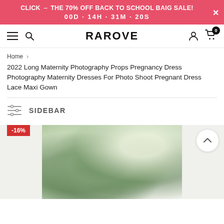CLICK → THE 70% OFF BACK TO SCHOOL BAIG SALE! 00D · 14H · 31M · 20S
RAROVE
Home > 2022 Long Maternity Photography Props Pregnancy Dress Photography Maternity Dresses For Photo Shoot Pregnant Dress Lace Maxi Gown
SIDEBAR
-16%
[Figure (photo): Product photo of maternity dress, showing green foliage background]